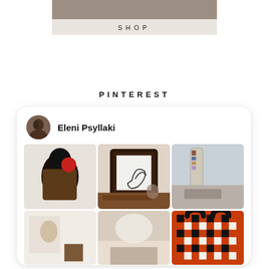[Figure (screenshot): Top banner showing a shop image with beige background and 'SHOP' text in spaced uppercase letters]
PINTEREST
[Figure (screenshot): Pinterest profile card for Eleni Psyllaki showing a 3-column image grid with fashion, art, and interior photos]